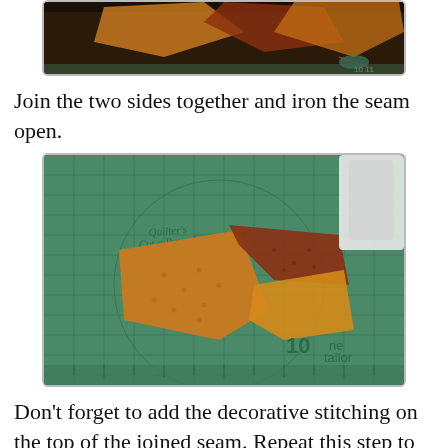[Figure (photo): Top portion of a quilting photo showing fabric pieces on a cutting mat, partially cropped]
Join the two sides together and iron the seam open.
[Figure (photo): Photo of orange and red-brown quilt fabric pieces arranged on a green quilter's cutting mat labeled 'Quilter's Cut n Press I', with a ruler and 'ne tailor' text visible]
Don't forget to add the decorative stitching on the top of the joined seam. Repeat this step to make 10 blocks in total.
[Figure (photo): Partial photo showing a green cutting mat with yellow ruler markings, orange and red quilt fabric blocks, and a pink rotary cutter]